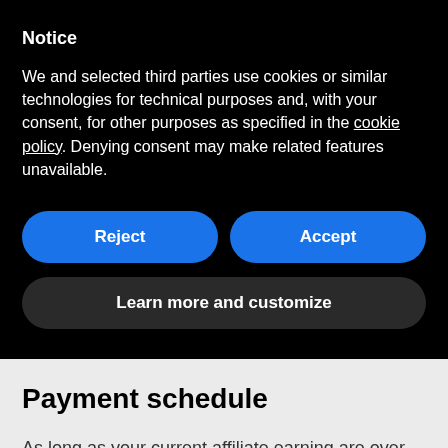Notice
We and selected third parties use cookies or similar technologies for technical purposes and, with your consent, for other purposes as specified in the cookie policy. Denying consent may make related features unavailable.
Reject | Accept
Learn more and customize
Payment schedule
As long as your current affiliate earning are over $20, you'll be paid each month. If you haven't earned $20 since your last payment, we'll pay you the following month after